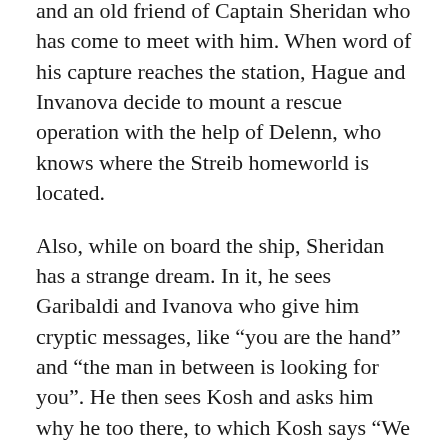and an old friend of Captain Sheridan who has come to meet with him. When word of his capture reaches the station, Hague and Invanova decide to mount a rescue operation with the help of Delenn, who knows where the Streib homeworld is located.
Also, while on board the ship, Sheridan has a strange dream. In it, he sees Garibaldi and Ivanova who give him cryptic messages, like “you are the hand” and “the man in between is looking for you”. He then sees Kosh and asks him why he too there, to which Kosh says “We were never away. For the first time, your mind is quiet enough to hear me.” When Sheridan asks what he is doing there, Kosh replies simply “you have always been here”.
Finally, the Agamemnon catches up with them just outside the Streib homeworld. When they are told